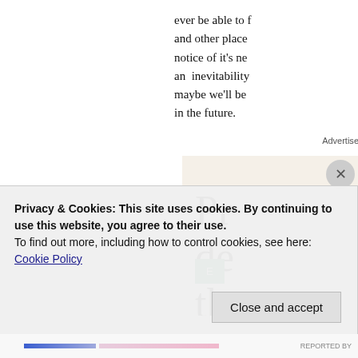ever be able to f... and other place... notice of it's ne... an inevitability... maybe we'll be ... in the future.
Advertisement
[Figure (other): Advertisement box with partial large serif text starting with 'Pr', 'de', 'th' and a green button labeled 'E']
Privacy & Cookies: This site uses cookies. By continuing to use this website, you agree to their use.
To find out more, including how to control cookies, see here: Cookie Policy
Close and accept